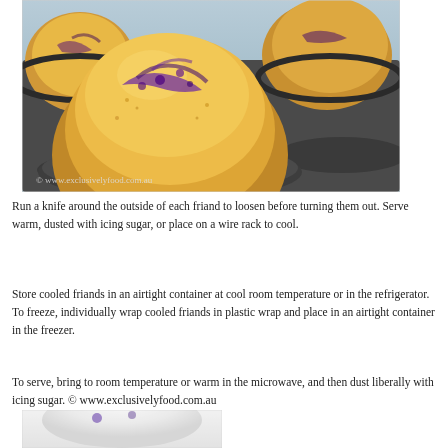[Figure (photo): Close-up photo of blueberry friands baked in a dark muffin/friand tin. The golden-yellow baked friands have purple blueberry streaks on top. A watermark reads '© www.exclusivelyfood.com.au' in the bottom left corner.]
Run a knife around the outside of each friand to loosen before turning them out. Serve warm, dusted with icing sugar, or place on a wire rack to cool.
Store cooled friands in an airtight container at cool room temperature or in the refrigerator. To freeze, individually wrap cooled friands in plastic wrap and place in an airtight container in the freezer.
To serve, bring to room temperature or warm in the microwave, and then dust liberally with icing sugar. © www.exclusivelyfood.com.au
[Figure (photo): Partial view of a friand dusted with icing sugar, shown at the bottom of the page.]